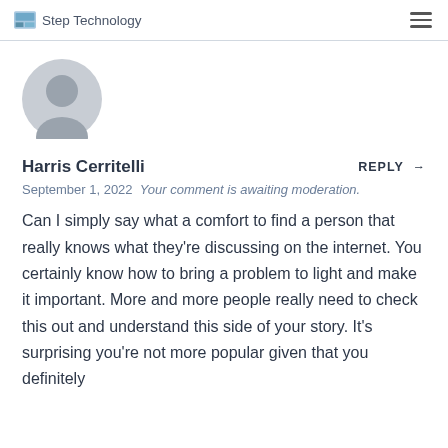Step Technology
[Figure (illustration): Gray circular avatar/user silhouette icon]
Harris Cerritelli
REPLY →
September 1, 2022  Your comment is awaiting moderation.
Can I simply say what a comfort to find a person that really knows what they're discussing on the internet. You certainly know how to bring a problem to light and make it important. More and more people really need to check this out and understand this side of your story. It's surprising you're not more popular given that you definitely